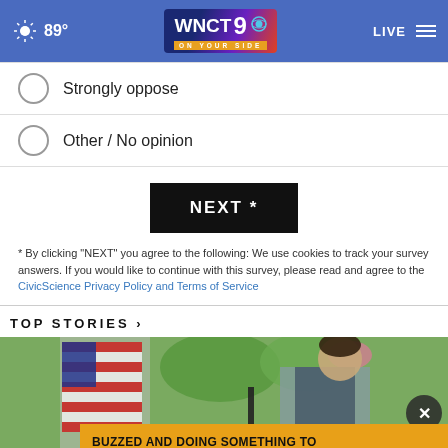WNCT 9 ON YOUR SIDE | 89° | LIVE
Strongly oppose
Other / No opinion
NEXT *
* By clicking "NEXT" you agree to the following: We use cookies to track your survey answers. If you would like to continue with this survey, please read and agree to the CivicScience Privacy Policy and Terms of Service
TOP STORIES ▶
[Figure (photo): Photo of a man in a suit beside an American flag with greenery in the background. An advertisement overlay reads: BUZZED AND DOING SOMETHING TO MAKE YOURSELF OKAY TO DRIVE?]